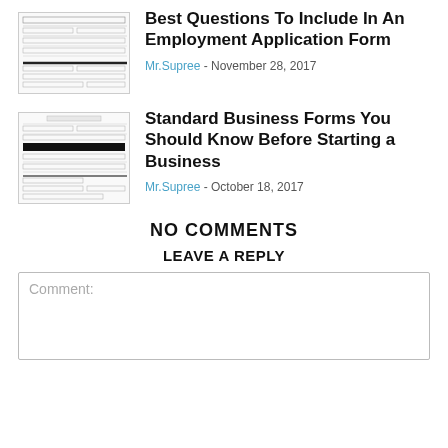[Figure (illustration): Thumbnail image of an employment application form document]
Best Questions To Include In An Employment Application Form
Mr.Supree - November 28, 2017
[Figure (illustration): Thumbnail image of a standard business forms document]
Standard Business Forms You Should Know Before Starting a Business
Mr.Supree - October 18, 2017
NO COMMENTS
LEAVE A REPLY
Comment: